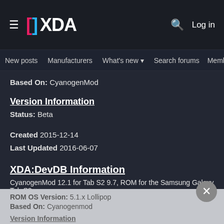XDA Developers
New posts  Manufacturers  What's new  Search forums  Membe  >
Based On: CyanogenMod
Version Information
Status: Beta
Created 2015-12-14
Last Updated 2016-06-07
XDA:DevDB Information
CyanogenMod 12.1 for Tab S2 9.7, ROM for the Samsung Galaxy Tab S2
Contributors
T_I, CTXz
ROM OS Version: 5.1.x Lollipop
Based On: Cyanogenmod
Version Information
Status: No Longer Updated